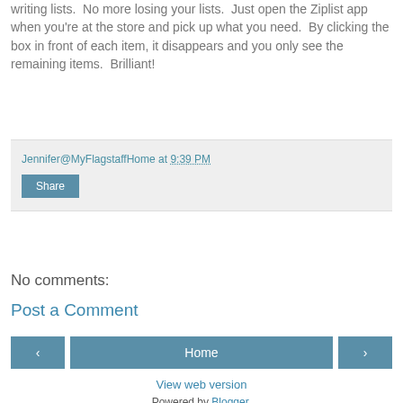writing lists.  No more losing your lists.  Just open the Ziplist app when you're at the store and pick up what you need.  By clicking the box in front of each item, it disappears and you only see the remaining items.  Brilliant!
Jennifer@MyFlagstaffHome at 9:39 PM
Share
No comments:
Post a Comment
‹
Home
›
View web version
Powered by Blogger.